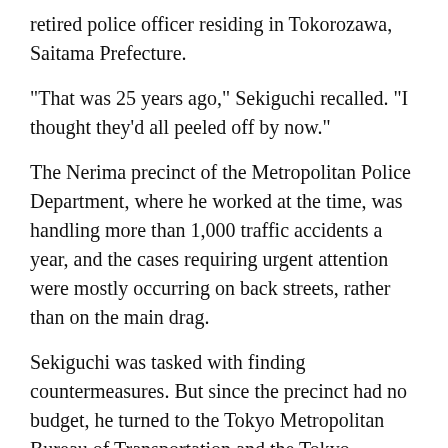retired police officer residing in Tokorozawa, Saitama Prefecture.
"That was 25 years ago," Sekiguchi recalled. "I thought they'd all peeled off by now."
The Nerima precinct of the Metropolitan Police Department, where he worked at the time, was handling more than 1,000 traffic accidents a year, and the cases requiring urgent attention were mostly occurring on back streets, rather than on the main drag.
Sekiguchi was tasked with finding countermeasures. But since the precinct had no budget, he turned to the Tokyo Metropolitan Bureau of Transportation and the Tokyo Trucking Association to borrow reflective tape.
With scissors, he cut the tape into eyes, noses and mouths and attached them to utility poles.